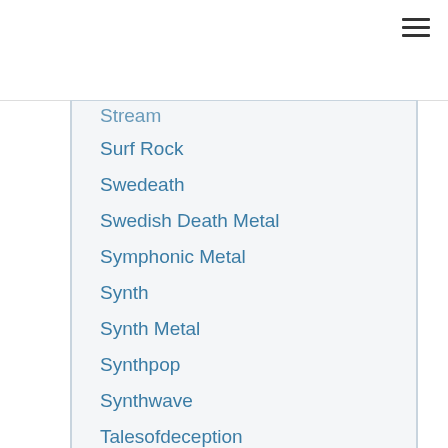Stream
Surf Rock
Swedeath
Swedish Death Metal
Symphonic Metal
Synth
Synth Metal
Synthpop
Synthwave
Talesofdeception
Techdeath
Tech Death
Technical Death Metal
Texas
The Administrator
The Dungeon Awaits
The Voiceless Apparation